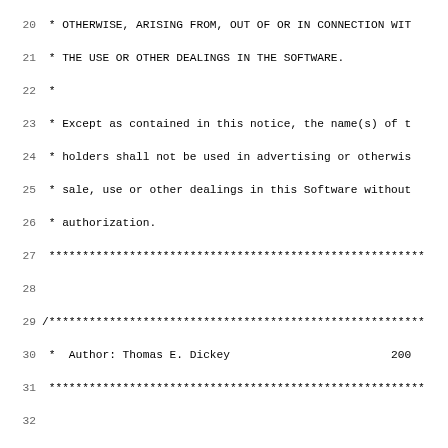Source code listing (C), lines 20-51, tabs.c -- set terminal hard-tabstops